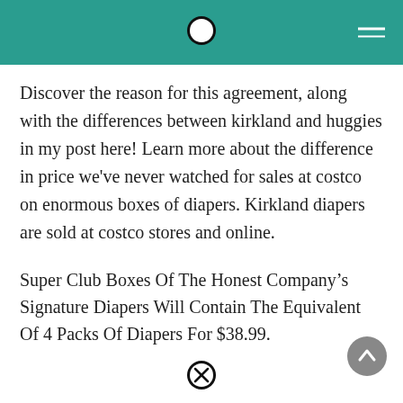Discover the reason for this agreement, along with the differences between kirkland and huggies in my post here! Learn more about the difference in price we've never watched for sales at costco on enormous boxes of diapers. Kirkland diapers are sold at costco stores and online.
Super Club Boxes Of The Honest Company’s Signature Diapers Will Contain The Equivalent Of 4 Packs Of Diapers For $38.99.